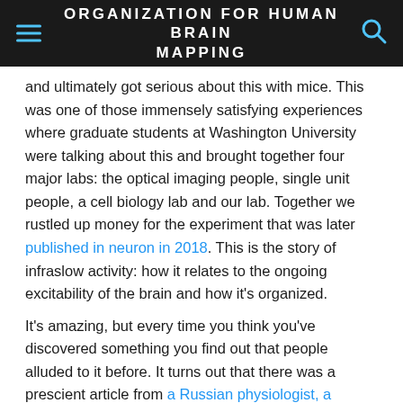ORGANIZATION FOR HUMAN BRAIN MAPPING
and ultimately got serious about this with mice. This was one of those immensely satisfying experiences where graduate students at Washington University were talking about this and brought together four major labs: the optical imaging people, single unit people, a cell biology lab and our lab. Together we rustled up money for the experiment that was later published in neuron in 2018. This is the story of infraslow activity: how it relates to the ongoing excitability of the brain and how it's organized.
It's amazing, but every time you think you've discovered something you find out that people alluded to it before. It turns out that there was a prescient article from a Russian physiologist, a woman named Aladjalova. In 1955, she published a letter in Nature on infraslow brain activity. Then she wrote a book—which we've translated and I want to publish—where she anticipated a good bit about this and yet it just got swept under the carpet. It too ended up in the dustbin of history.